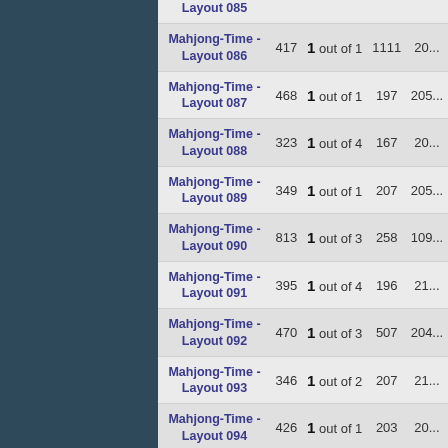| Name | Plays | Rank | Best | Last |
| --- | --- | --- | --- | --- |
| Mahjong-Time - Layout 085 |  |  |  |  |
| Mahjong-Time - Layout 086 | 417 | 1 out of 1 | 1111 | 20... |
| Mahjong-Time - Layout 087 | 468 | 1 out of 1 | 197 | 205... |
| Mahjong-Time - Layout 088 | 323 | 1 out of 4 | 167 | 20... |
| Mahjong-Time - Layout 089 | 349 | 1 out of 1 | 207 | 205... |
| Mahjong-Time - Layout 090 | 813 | 1 out of 3 | 258 | 109... |
| Mahjong-Time - Layout 091 | 395 | 1 out of 4 | 196 | 21... |
| Mahjong-Time - Layout 092 | 470 | 1 out of 3 | 507 | 204... |
| Mahjong-Time - Layout 093 | 346 | 1 out of 2 | 207 | 21... |
| Mahjong-Time - Layout 094 | 426 | 1 out of 1 | 203 | 20... |
| Mahjong-Time - Layout 095 | 448 | 1 out of 2 | 196 | 204... |
| Mahjong-Time - Layout 096 | 488 | 1 out of 2 | 204 | 204... |